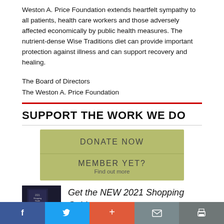Weston A. Price Foundation extends heartfelt sympathy to all patients, health care workers and those adversely affected economically by public health measures. The nutrient-dense Wise Traditions diet can provide important protection against illness and can support recovery and healing.
The Board of Directors
The Weston A. Price Foundation
SUPPORT THE WORK WE DO
[Figure (infographic): Green box with two call-to-action buttons: DONATE NOW and MEMBER YET? / Find out more]
[Figure (infographic): Shopping guide book cover image (dark background with white text 2021 Shopping Guide)]
Get the NEW 2021 Shopping Guide
Facebook share | Twitter share | Plus share | Email | Print